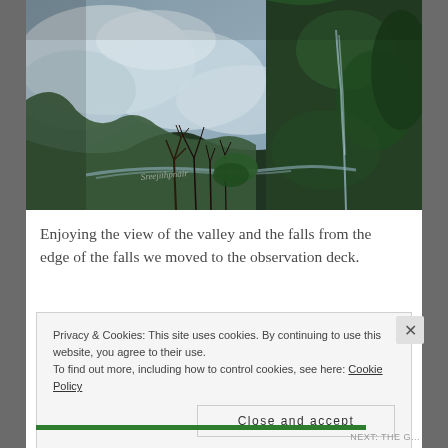[Figure (photo): Aerial view of a deep mountain valley with clouds, a river visible far below, lush green cliffs on the right side, bare tree branches in the foreground, and a waterfall visible on the right cliff face. A watermark reads 'Sreejithpnair'.]
Enjoying the view of the valley and the falls from the edge of the falls we moved to the observation deck.
Privacy & Cookies: This site uses cookies. By continuing to use this website, you agree to their use.
To find out more, including how to control cookies, see here: Cookie Policy
Close and accept